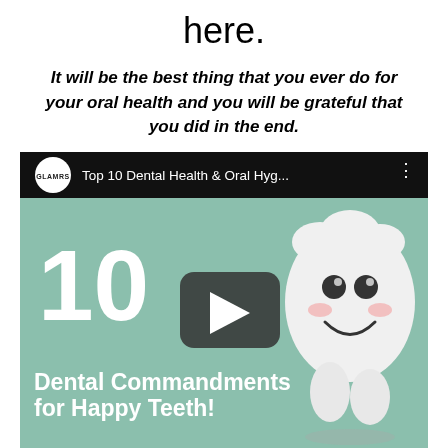here.
It will be the best thing that you ever do for your oral health and you will be grateful that you did in the end.
[Figure (screenshot): YouTube video thumbnail for 'Top 10 Dental Health & Oral Hyg...' by GLAMRS channel, showing a cartoon tooth character and text '10 Dental Commandments for Happy Teeth!' with a play button overlay.]